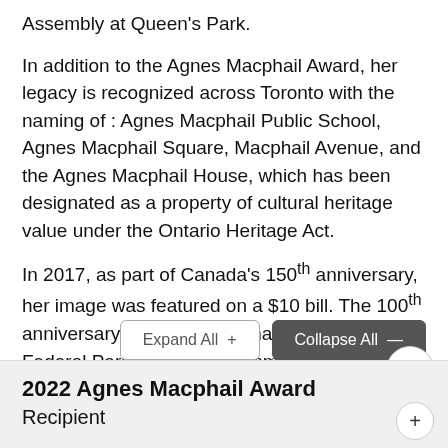Assembly at Queen's Park.
In addition to the Agnes Macphail Award, her legacy is recognized across Toronto with the naming of : Agnes Macphail Public School, Agnes Macphail Square, Macphail Avenue, and the Agnes Macphail House, which has been designated as a property of cultural heritage value under the Ontario Heritage Act.
In 2017, as part of Canada's 150th anniversary, her image was featured on a $10 bill. The 100th anniversary of Agnes Macphail's election to Federal Parliament was commemorated in 2021.
Expand All +
Collapse All —
2022 Agnes Macphail Award Recipient